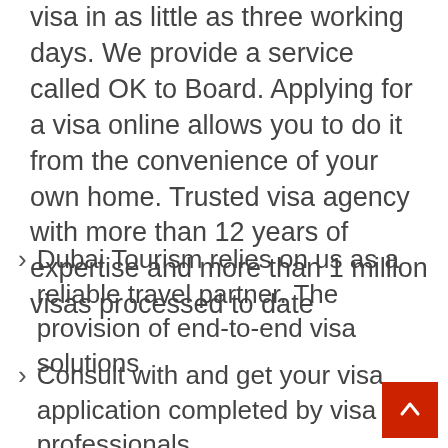visa in as little as three working days. We provide a service called OK to Board. Applying for a visa online allows you to do it from the convenience of your own home. Trusted visa agency with more than 12 years of expertise and more than 1 million visas processed to date
Dubai Tourism relies on us as a reliable travel partner. The provision of end-to-end visa solutions
Consult with and get your visa application completed by visa professionals
With Musafir's knowledge, you have the best chance of getting your visa